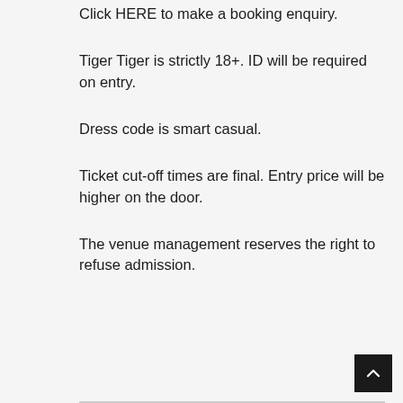Click HERE to make a booking enquiry.
Tiger Tiger is strictly 18+. ID will be required on entry.
Dress code is smart casual.
Ticket cut-off times are final. Entry price will be higher on the door.
The venue management reserves the right to refuse admission.